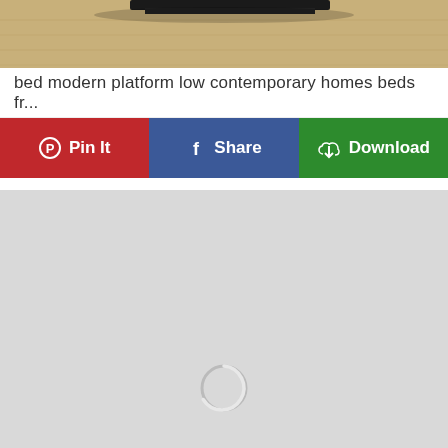[Figure (photo): Partial photo of a low modern platform bed on wooden floor, cropped showing bottom portion]
bed modern platform low contemporary homes beds fr...
[Figure (screenshot): Social sharing button bar with three buttons: Pin It (red, Pinterest), Share (blue, Facebook), Download (green, cloud download icon)]
[Figure (photo): Large light gray loading placeholder area with a circular loading spinner at the bottom center]